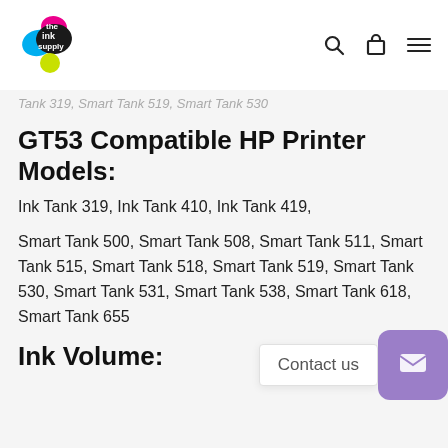the ink supply [logo with navigation icons]
Tank 319, Smart Tank 519, Smart Tank 530
GT53 Compatible HP Printer Models:
Ink Tank 319, Ink Tank 410, Ink Tank 419,
Smart Tank 500, Smart Tank 508, Smart Tank 511, Smart Tank 515, Smart Tank 518, Smart Tank 519, Smart Tank 530, Smart Tank 531, Smart Tank 538, Smart Tank 615, Smart Tank 618, Smart Tank 655
Ink Volume: